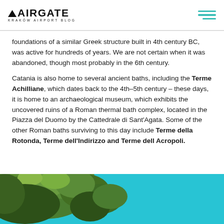AIRGATE KRAKÓW AIRPORT BLOG
foundations of a similar Greek structure built in 4th century BC, was active for hundreds of years. We are not certain when it was abandoned, though most probably in the 6th century.

Catania is also home to several ancient baths, including the Terme Achilliane, which dates back to the 4th–5th century – these days, it is home to an archaeological museum, which exhibits the uncovered ruins of a Roman thermal bath complex, located in the Piazza del Duomo by the Cattedrale di Sant'Agata. Some of the other Roman baths surviving to this day include Terme della Rotonda, Terme dell'Indirizzo and Terme dell Acropoli.
[Figure (photo): Aerial or upward-looking photo of trees with green foliage against a bright blue sky]